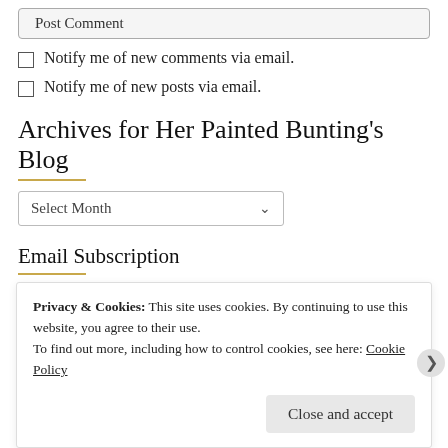Post Comment (button, partially visible)
Notify me of new comments via email.
Notify me of new posts via email.
Archives for Her Painted Bunting's Blog
Select Month (dropdown)
Email Subscription
Privacy & Cookies: This site uses cookies. By continuing to use this website, you agree to their use.
To find out more, including how to control cookies, see here: Cookie Policy
Close and accept (button)